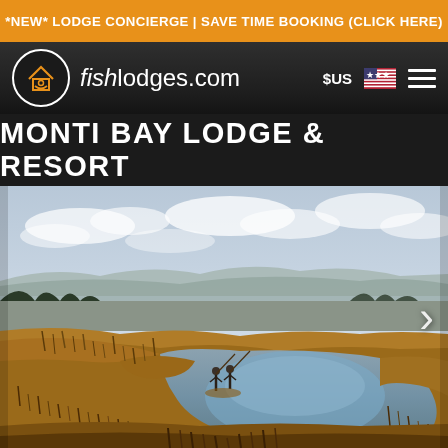*NEW* LODGE CONCIERGE | SAVE TIME BOOKING (CLICK HERE)
[Figure (logo): fishlodges.com navigation bar with circular fish logo, brand name, $US currency selector with US flag, and hamburger menu]
MONTI BAY LODGE & RESORT
[Figure (photo): Outdoor fishing scene showing two anglers standing beside a calm reflective waterway surrounded by golden marsh grass and reeds, with mountains and cloudy sky in the background. A right-pointing arrow navigation chevron is visible on the right side.]